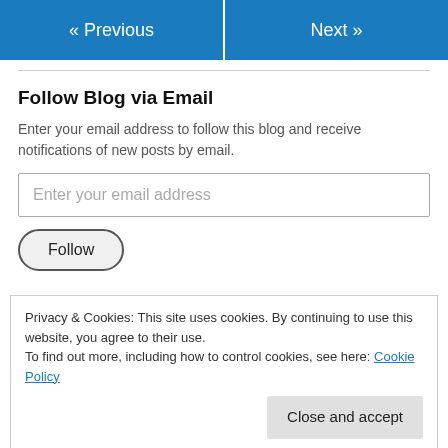« Previous   Next »
Follow Blog via Email
Enter your email address to follow this blog and receive notifications of new posts by email.
Enter your email address
Follow
Privacy & Cookies: This site uses cookies. By continuing to use this website, you agree to their use.
To find out more, including how to control cookies, see here: Cookie Policy
Close and accept
Search